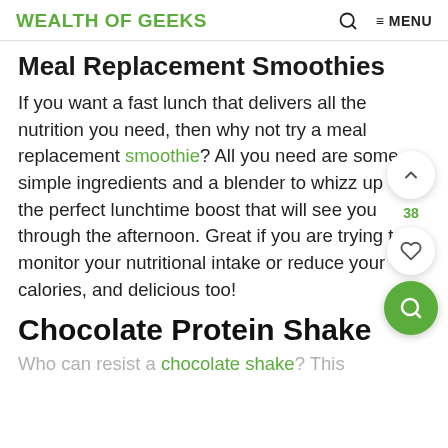WEALTH OF GEEKS | Q | ≡ MENU
Meal Replacement Smoothies
If you want a fast lunch that delivers all the nutrition you need, then why not try a meal replacement smoothie? All you need are some simple ingredients and a blender to whizz up the perfect lunchtime boost that will see you through the afternoon. Great if you are trying to monitor your nutritional intake or reduce your calories, and delicious too!
Chocolate Protein Shake
Who can resist a chocolate shake? This